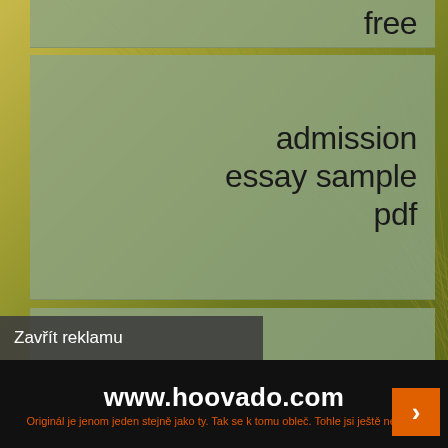free
admission essay sample pdf
admission essay samples for graduate school
admission essay strengths and weaknesses
Zavřít reklamu
www.hoovado.com
Originál je jenom jeden stejně jako ty. Tak se k tomu obleč. Tohle jsi ještě neviděl.